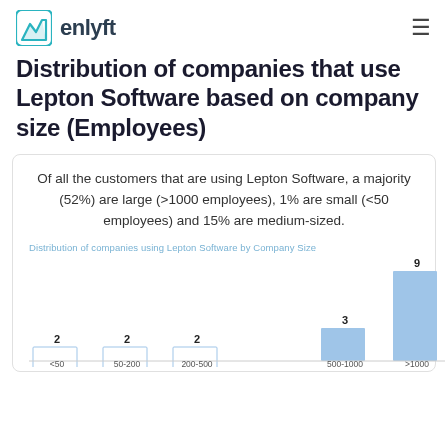enlyft
Distribution of companies that use Lepton Software based on company size (Employees)
Of all the customers that are using Lepton Software, a majority (52%) are large (>1000 employees), 1% are small (<50 employees) and 15% are medium-sized.
[Figure (bar-chart): Distribution of companies using Lepton Software by Company Size]